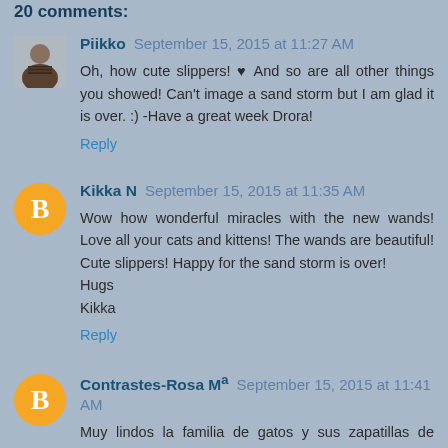20 comments:
Piikko  September 15, 2015 at 11:27 AM
Oh, how cute slippers! ♥ And so are all other things you showed! Can't image a sand storm but I am glad it is over. :) -Have a great week Drora!
Reply
Kikka N  September 15, 2015 at 11:35 AM
Wow how wonderful miracles with the new wands! Love all your cats and kittens! The wands are beautiful! Cute slippers! Happy for the sand storm is over!
Hugs
Kikka
Reply
Contrastes-Rosa Mª  September 15, 2015 at 11:41 AM
Muy lindos la familia de gatos y sus zapatillas de pollitos